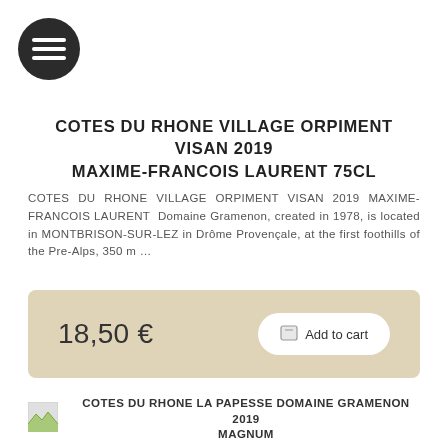[Figure (logo): Hamburger menu icon — dark circle with three horizontal white lines]
COTES DU RHONE VILLAGE ORPIMENT VISAN 2019 MAXIME-FRANCOIS LAURENT 75CL
COTES DU RHONE VILLAGE ORPIMENT VISAN 2019 MAXIME-FRANCOIS LAURENT Domaine Gramenon, created in 1978, is located in MONTBRISON-SUR-LEZ in Drôme Provençale, at the first foothills of the Pre-Alps, 350 m …
18,50 €
Add to cart
COTES DU RHONE LA PAPESSE DOMAINE GRAMENON 2019 MAGNUM